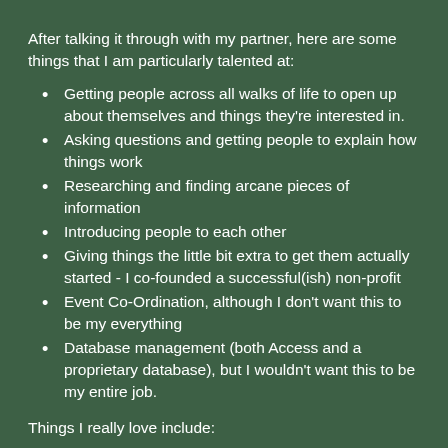After talking it through with my partner, here are some things that I am particularly talented at:
Getting people across all walks of life to open up about themselves and things they're interested in.
Asking questions and getting people to explain how things work
Researching and finding arcane pieces of information
Introducing people to each other
Giving things the little bit extra to get them actually started - I co-founded a successful(ish) non-profit
Event Co-Ordination, although I don't want this to be my everything
Database management (both Access and a proprietary database), but I wouldn't want this to be my entire job.
Things I really love include: